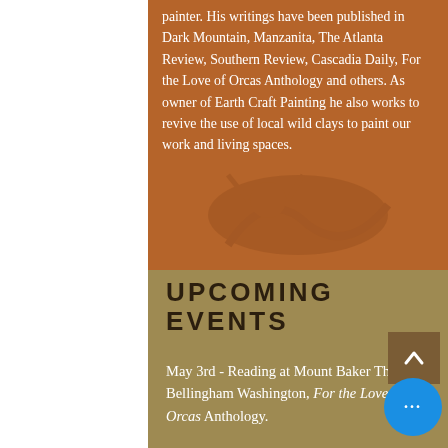painter. His writings have been published in Dark Mountain, Manzanita, The Atlanta Review, Southern Review, Cascadia Daily, For the Love of Orcas Anthology and others. As owner of Earth Craft Painting he also works to revive the use of local wild clays to paint our work and living spaces.
UPCOMING EVENTS
May 3rd - Reading at Mount Baker Theater, Bellingham Washington, For the Love of Orcas Anthology.